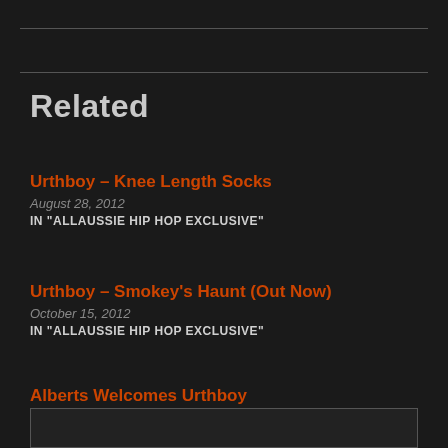Related
Urthboy – Knee Length Socks
August 28, 2012
IN "ALLAUSSIE HIP HOP EXCLUSIVE"
Urthboy – Smokey's Haunt (Out Now)
October 15, 2012
IN "ALLAUSSIE HIP HOP EXCLUSIVE"
Alberts Welcomes Urthboy
June 12, 2012
IN "ALBERTS"